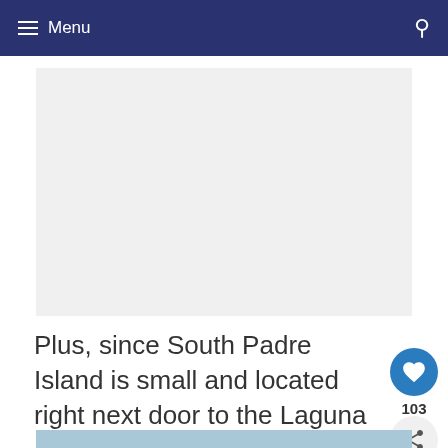≡ Menu
[Figure (photo): Large image placeholder (light gray rectangle), likely a photo of South Padre Island or Laguna Madre Nature Trail]
Plus, since South Padre Island is small and located right next door to the Laguna Madre Nature Trail, it's very easy to acces
[Figure (other): Partial bottom image strip in light blue/teal color]